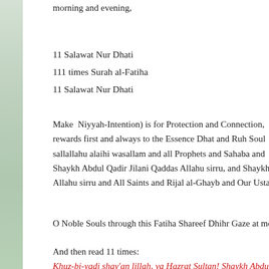morning and evening,
11 Salawat Nur Dhati
111 times Surah al-Fatiha
11 Salawat Nur Dhati
Make Niyyah-Intention) is for Protection and Connection, rewards first and always to the Essence Dhat and Ruh Soul sallallahu alaihi wasallam and all Prophets and Sahaba and Shaykh Abdul Qadir Jilani Qaddas Allahu sirru, and Shaykh Allahu sirru and All Saints and Rijal al-Ghayb and Our Ustadh
O Noble Souls through this Fatiha Shareef Dhihr Gaze at me and
And then read 11 times:
Khuz-bi-yadi shay'an lillah, ya Hazrat Sultan! Shaykh Abdul Q